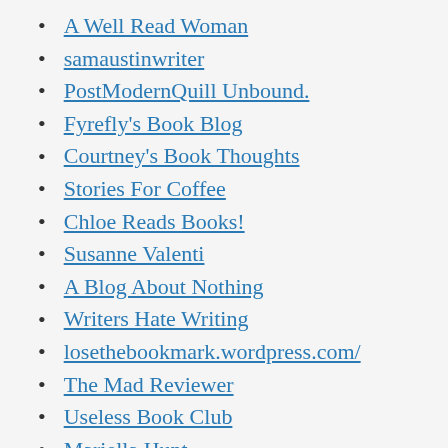A Well Read Woman
samaustinwriter
PostModernQuill Unbound.
Fyrefly's Book Blog
Courtney's Book Thoughts
Stories For Coffee
Chloe Reads Books!
Susanne Valenti
A Blog About Nothing
Writers Hate Writing
losethebookmark.wordpress.com/
The Mad Reviewer
Useless Book Club
Mariella Hunt